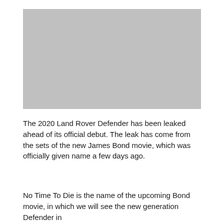[Figure (photo): Gray placeholder image, landscape orientation, likely a vehicle photo]
The 2020 Land Rover Defender has been leaked ahead of its official debut. The leak has come from the sets of the new James Bond movie, which was officially given name a few days ago.
No Time To Die is the name of the upcoming Bond movie, in which we will see the new generation Defender in action. And this leak has given us a glimpse of the vehicle ahead of the launch.